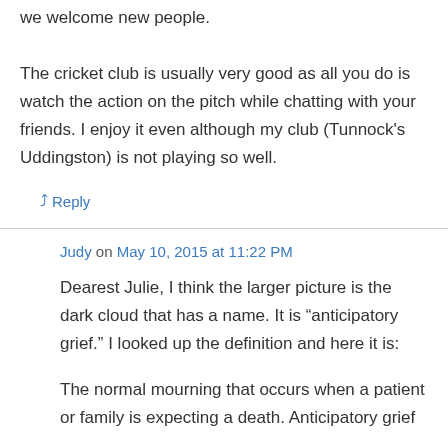we welcome new people. The cricket club is usually very good as all you do is watch the action on the pitch while chatting with your friends. I enjoy it even although my club (Tunnock's Uddingston) is not playing so well.
↳ Reply
Judy on May 10, 2015 at 11:22 PM
Dearest Julie, I think the larger picture is the dark cloud that has a name. It is "anticipatory grief." I looked up the definition and here it is:
The normal mourning that occurs when a patient or family is expecting a death. Anticipatory grief